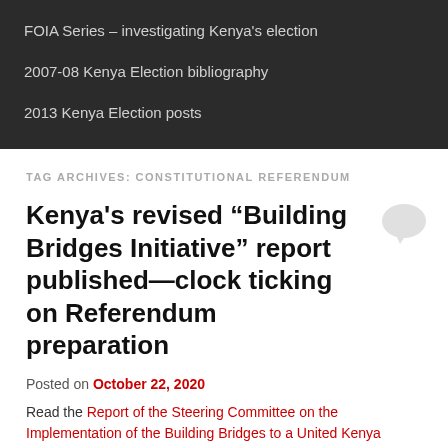FOIA Series – investigating Kenya's election
2007-08 Kenya Election bibliography
2013 Kenya Election posts
TAG ARCHIVES: CONSTITUTIONAL REFERENDUM
Kenya's revised “Building Bridges Initiative” report published—clock ticking on Referendum preparation
Posted on October 22, 2020
Read the Report of the Steering Committee on the Implementation of the Building Bridges to a United Kenya...